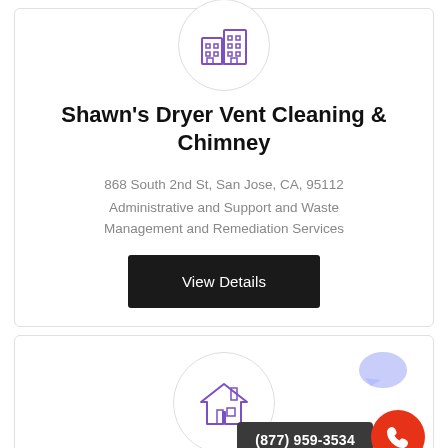[Figure (illustration): Purple building/commercial icon inside a light gray circle]
Shawn's Dryer Vent Cleaning & Chimney
868 South 2nd St, San Jose, CA, 95112
Administrative and Support and Waste Management and Remediation Services
View Details
[Figure (illustration): Purple house icon inside a light gray circle, partially visible at bottom of page]
(877) 959-3534